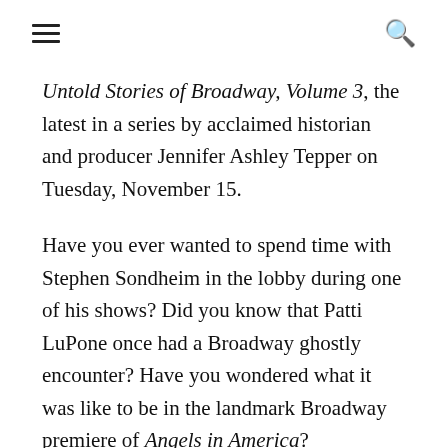[hamburger menu] [search icon]
Untold Stories of Broadway, Volume 3, the latest in a series by acclaimed historian and producer Jennifer Ashley Tepper on Tuesday, November 15.
Have you ever wanted to spend time with Stephen Sondheim in the lobby during one of his shows? Did you know that Patti LuPone once had a Broadway ghostly encounter? Have you wondered what it was like to be in the landmark Broadway premiere of Angels in America?
From opening nights to closing nights. From secret passageways to ghostly